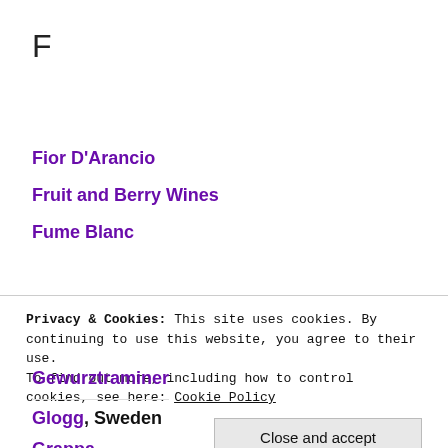F
Fior D'Arancio
Fruit and Berry Wines
Fume Blanc
Privacy & Cookies: This site uses cookies. By continuing to use this website, you agree to their use.
To find out more, including how to control cookies, see here: Cookie Policy
Gewurztraminer
Glogg, Sweden
Grappa